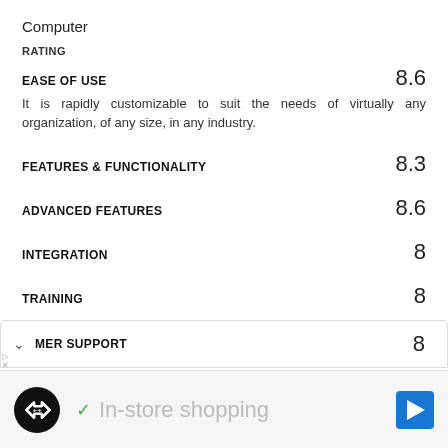Computer
RATING
EASE OF USE
8.6
It is rapidly customizable to suit the needs of virtually any organization, of any size, in any industry.
FEATURES & FUNCTIONALITY
8.3
ADVANCED FEATURES
8.6
INTEGRATION
8
TRAINING
8
CUSTOMER SUPPORT
8